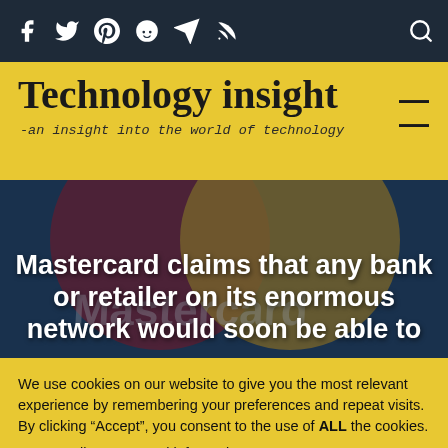Social icons nav bar (Facebook, Twitter, Pinterest, Reddit, Telegram, RSS, Search)
Technology insight
-an insight into the world of technology
[Figure (photo): Mastercard logo blurred in background with dark blue overlay, large bold white article headline text: Mastercard claims that any bank or retailer on its enormous network would soon be able to]
We use cookies on our website to give you the most relevant experience by remembering your preferences and repeat visits. By clicking “Accept”, you consent to the use of ALL the cookies.
Do not sell my personal information.
Cookie Settings   Accept